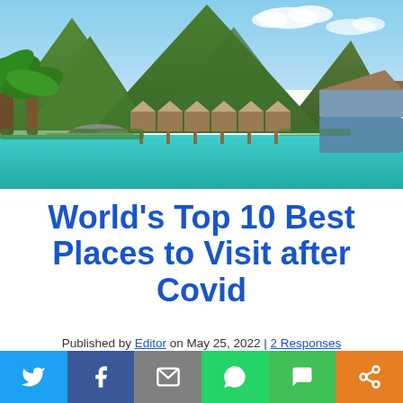[Figure (photo): Tropical lagoon with turquoise water, overwater bungalows on stilts, mountains with lush green vegetation in background, palm trees on left, wooden boat structure on right]
World's Top 10 Best Places to Visit after Covid
Published by Editor on May 25, 2022 | 2 Responses